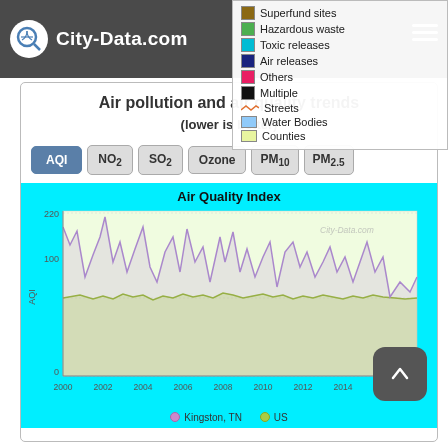City-Data.com
Superfund sites
Hazardous waste
Toxic releases
Air releases
Others
Multiple
Streets
Water Bodies
Counties
Air pollution and air quality trends (lower is better)
[Figure (line-chart): Air Quality Index]
Kingston, TN  US